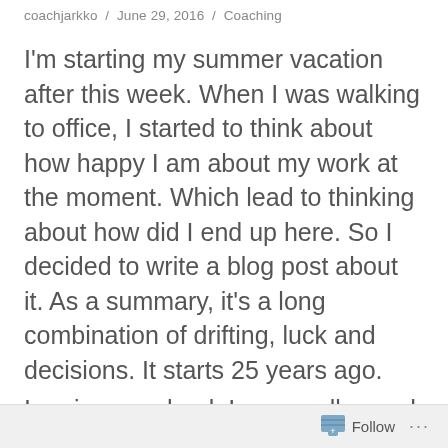coachjarkko / June 29, 2016 / Coaching
I'm starting my summer vacation after this week. When I was walking to office, I started to think about how happy I am about my work at the moment. Which lead to thinking about how did I end up here. So I decided to write a blog post about it. As a summary, it's a long combination of drifting, luck and decisions. It starts 25 years ago.
In primary school, I was really good at
Follow ...